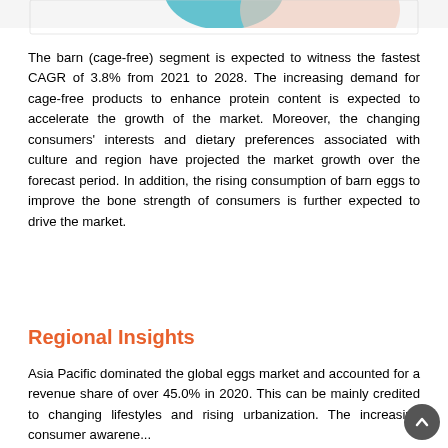[Figure (illustration): Partial decorative illustration visible at top of page, showing soft blue and pink shapes against a white background.]
The barn (cage-free) segment is expected to witness the fastest CAGR of 3.8% from 2021 to 2028. The increasing demand for cage-free products to enhance protein content is expected to accelerate the growth of the market. Moreover, the changing consumers' interests and dietary preferences associated with culture and region have projected the market growth over the forecast period. In addition, the rising consumption of barn eggs to improve the bone strength of consumers is further expected to drive the market.
Regional Insights
Asia Pacific dominated the global eggs market and accounted for a revenue share of over 45.0% in 2020. This can be mainly credited to changing lifestyles and rising urbanization. The increasing consumer awareness and access to premium discounts on prices and affordab...